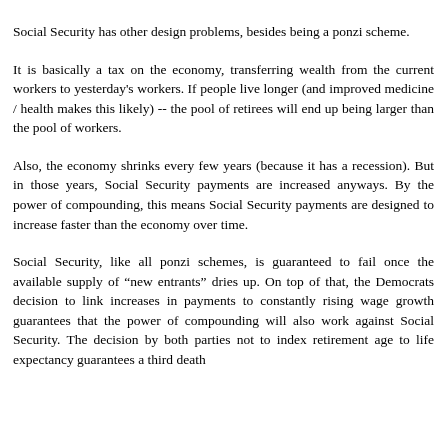Social Security has other design problems, besides being a ponzi scheme.
It is basically a tax on the economy, transferring wealth from the current workers to yesterday's workers. If people live longer (and improved medicine / health makes this likely) -- the pool of retirees will end up being larger than the pool of workers.
Also, the economy shrinks every few years (because it has a recession). But in those years, Social Security payments are increased anyways. By the power of compounding, this means Social Security payments are designed to increase faster than the economy over time.
Social Security, like all ponzi schemes, is guaranteed to fail once the available supply of "new entrants" dries up. On top of that, the Democrats decision to link increases in payments to constantly rising wage growth guarantees that the power of compounding will also work against Social Security. The decision by both parties not to index retirement age to life expectancy guarantees a third death